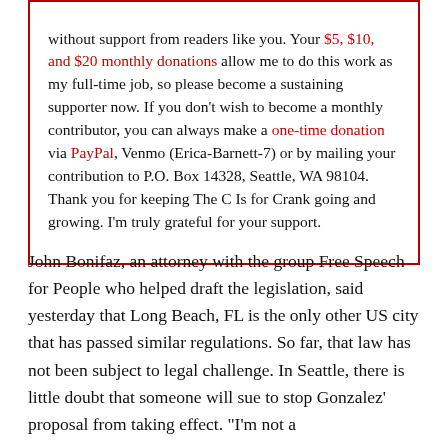without support from readers like you. Your $5, $10, and $20 monthly donations allow me to do this work as my full-time job, so please become a sustaining supporter now. If you don't wish to become a monthly contributor, you can always make a one-time donation via PayPal, Venmo (Erica-Barnett-7) or by mailing your contribution to P.O. Box 14328, Seattle, WA 98104. Thank you for keeping The C Is for Crank going and growing. I'm truly grateful for your support.
John Bonifaz, an attorney with the group Free Speech for People who helped draft the legislation, said yesterday that Long Beach, FL is the only other US city that has passed similar regulations. So far, that law has not been subject to legal challenge. In Seattle, there is little doubt that someone will sue to stop Gonzalez' proposal from taking effect. "I'm not a